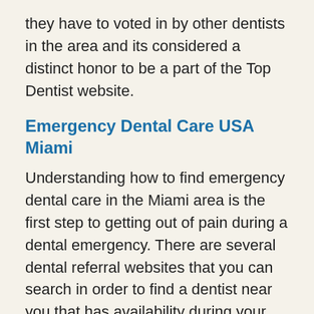they have to voted in by other dentists in the area and its considered a distinct honor to be a part of the Top Dentist website.
Emergency Dental Care USA Miami
Understanding how to find emergency dental care in the Miami area is the first step to getting out of pain during a dental emergency. There are several dental referral websites that you can search in order to find a dentist near you that has availability during your time of emergency.
Having the knowledge of what to do in a dental emergency is very critical. There are several